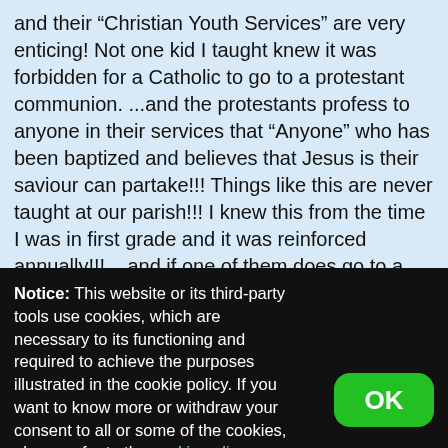and their “Christian Youth Services” are very enticing! Not one kid I taught knew it was forbidden for a Catholic to go to a protestant communion. ...and the protestants profess to anyone in their services that “Anyone” who has been baptized and believes that Jesus is their saviour can partake!!! Things like this are never taught at our parish!!! I knew this from the time I was in first grade and it was reinforced annually!!! ...and if one of them does go to a protestant service, they do not know that does NOT satisfy their obligation to go to Mass!!! Many times I dated
Notice: This website or its third-party tools use cookies, which are necessary to its functioning and required to achieve the purposes illustrated in the cookie policy. If you want to know more or withdraw your consent to all or some of the cookies, please refer to the cookie policy.
By closing this banner, scrolling this page, clicking a link or continuing to browse otherwise, you agree to the use of cookies.